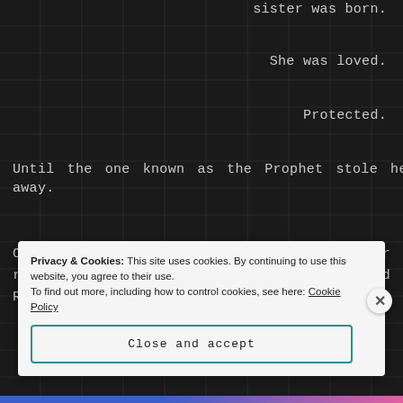sister was born.
She was loved.
Protected.
Until the one known as the Prophet stole her away.
Our only hope to save our queen—and our race—lies in the hands of a blind man named Randl Gage.
Privacy & Cookies: This site uses cookies. By continuing to use this website, you agree to their use.
To find out more, including how to control cookies, see here: Cookie Policy
Close and accept